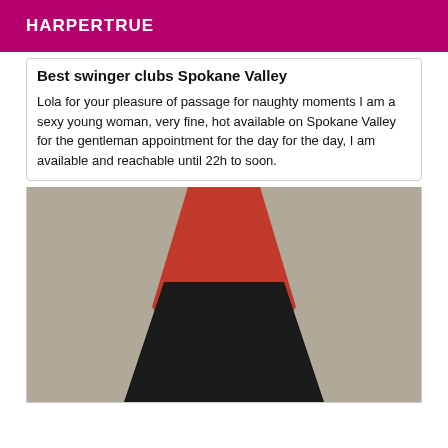HARPERTRUE
Best swinger clubs Spokane Valley
Lola for your pleasure of passage for naughty moments I am a sexy young woman, very fine, hot available on Spokane Valley for the gentleman appointment for the day for the day, I am available and reachable until 22h to soon.
[Figure (photo): Woman wearing a red halter top and black leather skirt with black gloves, standing next to a metal chair]